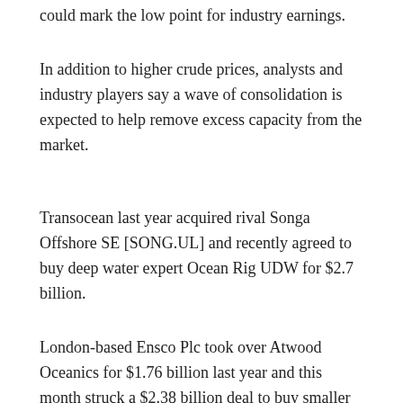could mark the low point for industry earnings.
In addition to higher crude prices, analysts and industry players say a wave of consolidation is expected to help remove excess capacity from the market.
Transocean last year acquired rival Songa Offshore SE [SONG.UL] and recently agreed to buy deep water expert Ocean Rig UDW for $2.7 billion.
London-based Ensco Plc took over Atwood Oceanics for $1.76 billion last year and this month struck a $2.38 billion deal to buy smaller rival Rowan Cos Plc and its stake in a joint venture with Saudi Arabia’s Aramco.